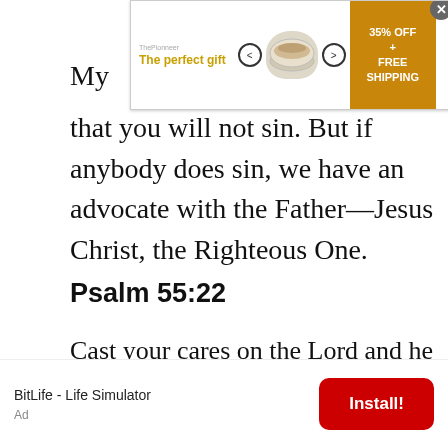[Figure (other): Advertisement banner for 'The perfect gift' cookware with bowl image, 35% OFF + FREE SHIPPING offer and close button]
My…that you will not sin. But if anybody does sin, we have an advocate with the Father—Jesus Christ, the Righteous One.
Psalm 55:22
Cast your cares on the Lord and he will sustain you; he will never let the righteous be shaken.
[Figure (other): Bottom advertisement for BitLife - Life Simulator app with Install! button]